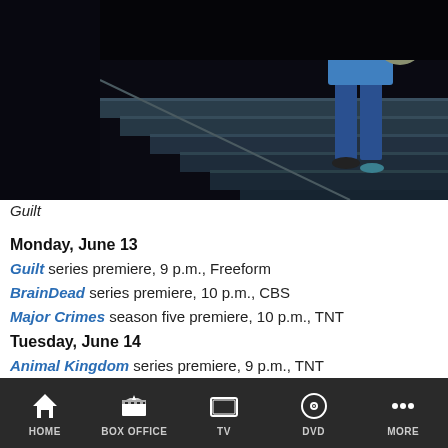[Figure (photo): Dark scene with person standing on stairs, wearing blue top and jeans, carrying a bag]
Guilt
Monday, June 13
Guilt series premiere, 9 p.m., Freeform
BrainDead series premiere, 10 p.m., CBS
Major Crimes season five premiere, 10 p.m., TNT
Tuesday, June 14
Animal Kingdom series premiere, 9 p.m., TNT
Uncle Buck series premiere, 9 p.m., ABC
Wrecked series premiere, 10 p.m., TBS
HOME  BOX OFFICE  TV  DVD  MORE